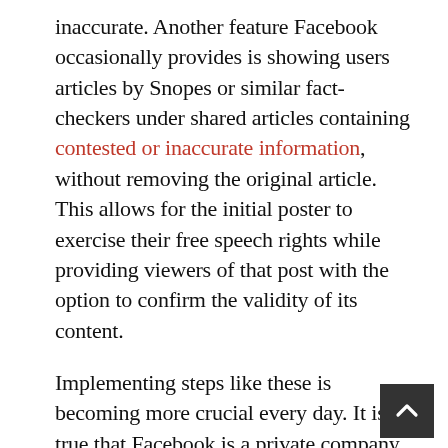inaccurate. Another feature Facebook occasionally provides is showing users articles by Snopes or similar fact-checkers under shared articles containing contested or inaccurate information, without removing the original article. This allows for the initial poster to exercise their free speech rights while providing viewers of that post with the option to confirm the validity of its content.

Implementing steps like these is becoming more crucial every day. It is true that Facebook is a private company that does not currently need to fact-check user-posted content because it is a protected interactive computer service provider under §230. With the current protections, Facebook has no liability for user-published content, and no thus no incentive to moderate it. However, while Facebook may be a private company, it effectively plays the role of a public utility by providing users with a platform for content of any quality or origin and actively promoting that content to other users around the